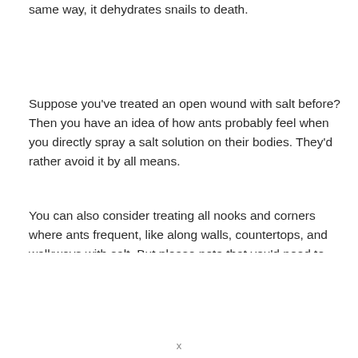same way, it dehydrates snails to death.
Suppose you've treated an open wound with salt before? Then you have an idea of how ants probably feel when you directly spray a salt solution on their bodies. They'd rather avoid it by all means.
You can also consider treating all nooks and corners where ants frequent, like along walls, countertops, and walkways with salt. But please note that you'd need to use a lot of table salt that can sometimes corrode and tarnish treated
x